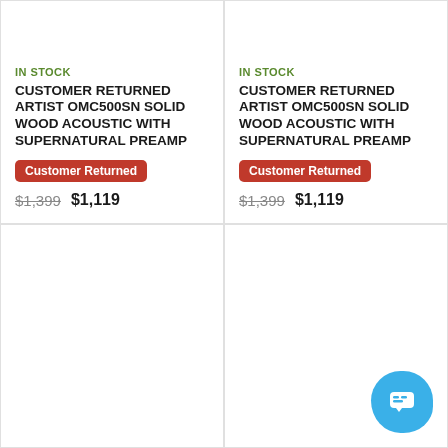IN STOCK
CUSTOMER RETURNED ARTIST OMC500SN SOLID WOOD ACOUSTIC WITH SUPERNATURAL PREAMP
Customer Returned
$1,399  $1,119
IN STOCK
CUSTOMER RETURNED ARTIST OMC500SN SOLID WOOD ACOUSTIC WITH SUPERNATURAL PREAMP
Customer Returned
$1,399  $1,119
[Figure (other): Empty bottom-left product card placeholder]
[Figure (other): Empty bottom-right product card placeholder with chat button]